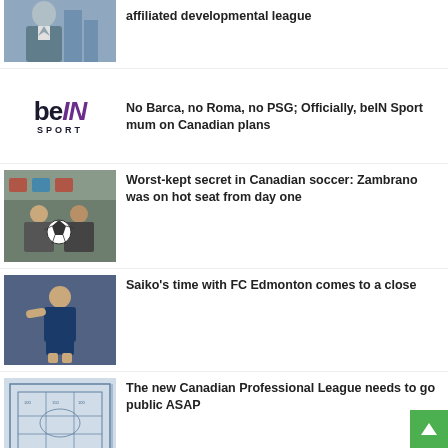[Figure (photo): Man in suit, partial view at top]
affiliated developmental league
[Figure (logo): beIN Sport logo]
No Barca, no Roma, no PSG; Officially, beIN Sport mum on Canadian plans
[Figure (photo): Press conference with two men and a soccer ball]
Worst-kept secret in Canadian soccer: Zambrano was on hot seat from day one
[Figure (photo): Soccer player in blue FC Edmonton kit]
Saiko's time with FC Edmonton comes to a close
[Figure (engineering-diagram): Blueprint/floor plan diagram of a stadium or arena]
The new Canadian Professional League needs to go public ASAP